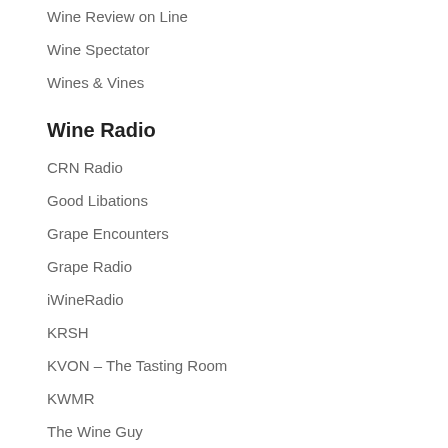Wine Review on Line
Wine Spectator
Wines & Vines
Wine Radio
CRN Radio
Good Libations
Grape Encounters
Grape Radio
iWineRadio
KRSH
KVON – The Tasting Room
KWMR
The Wine Guy
Vin Village